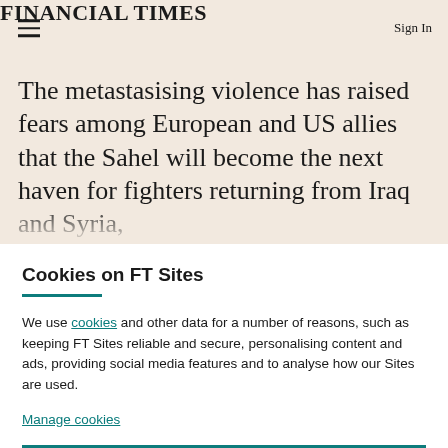FINANCIAL TIMES
The metastasising violence has raised fears among European and US allies that the Sahel will become the next haven for fighters returning from Iraq and Syria,
Cookies on FT Sites
We use cookies and other data for a number of reasons, such as keeping FT Sites reliable and secure, personalising content and ads, providing social media features and to analyse how our Sites are used.
Manage cookies
Accept & continue